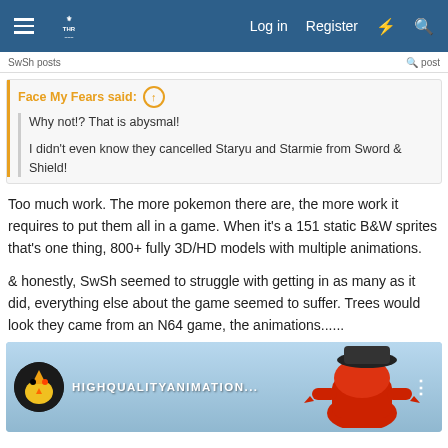Log in  Register
Face My Fears said:
Why not!? That is abysmal!

I didn't even know they cancelled Staryu and Starmie from Sword & Shield!
Too much work. The more pokemon there are, the more work it requires to put them all in a game. When it's a 151 static B&W sprites that's one thing, 800+ fully 3D/HD models with multiple animations.
& honestly, SwSh seemed to struggle with getting in as many as it did, everything else about the game seemed to suffer. Trees would look they came from an N64 game, the animations......
[Figure (screenshot): Embedded video thumbnail showing a Pokemon animation with text HIGHQUALITYANIMATION... and a red Pokemon (Incineroar) wearing a black fedora hat, with a bird avatar icon on the left.]